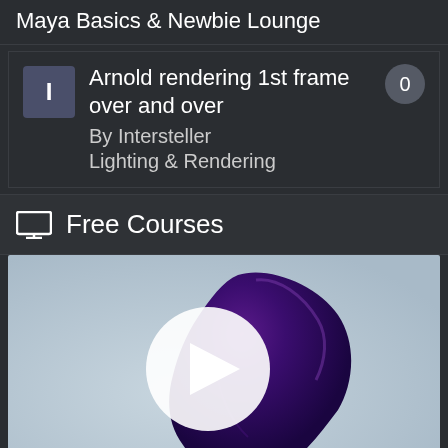Maya Basics & Newbie Lounge
Arnold rendering 1st frame over and over
By Intersteller
Lighting & Rendering
0
Free Courses
[Figure (screenshot): Video thumbnail showing a purple cloth simulation rendered in 3D (Arnold/Maya), with a play button overlay. Light blue-gray background with a draped purple fabric object.]